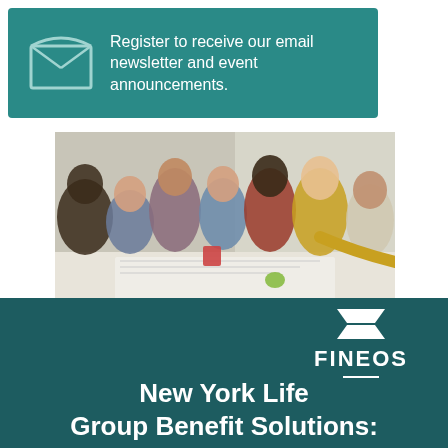[Figure (infographic): Teal/green banner with envelope icon and text: Register to receive our email newsletter and event announcements.]
Register to receive our email newsletter and event announcements.
[Figure (photo): Group of diverse people collaborating around a table, looking at documents, smiling]
[Figure (logo): FINEOS logo with hourglass/bowtie icon above the text FINEOS with underline, on dark teal background]
New York Life Group Benefit Solutions: